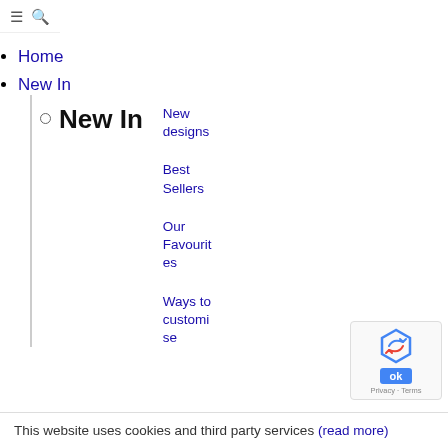☰ 🔍
Home
New In
New In
New designs
Best Sellers
Our Favourites
Ways to customise
This website uses cookies and third party services (read more)